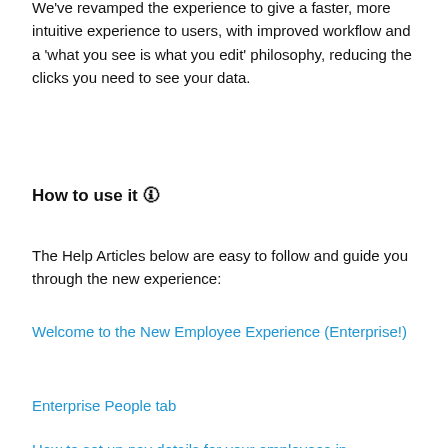We've revamped the experience to give a faster, more intuitive experience to users, with improved workflow and a 'what you see is what you edit' philosophy, reducing the clicks you need to see your data.
How to use it 🛈
The Help Articles below are easy to follow and guide you through the new experience:
Welcome to the New Employee Experience (Enterprise!)
Enterprise People tab
How to set up pay details for your employees in